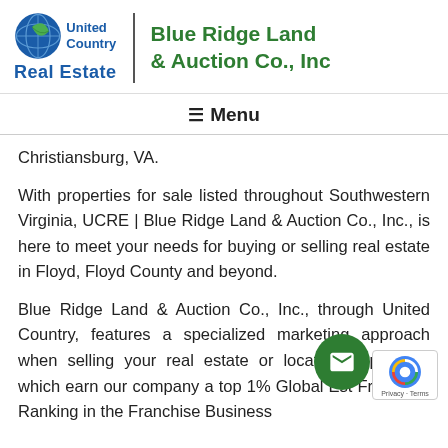[Figure (logo): United Country Real Estate logo with circular globe/leaf icon and 'Blue Ridge Land & Auction Co., Inc' brand name in green]
≡ Menu
Christiansburg, VA.
With properties for sale listed throughout Southwestern Virginia, UCRE | Blue Ridge Land & Auction Co., Inc., is here to meet your needs for buying or selling real estate in Floyd, Floyd County and beyond.
Blue Ridge Land & Auction Co., Inc., through United Country, features a specialized marketing approach when selling your real estate or locating a property which earn our company a top 1% Global Est Franchise Ranking in the Franchise Business